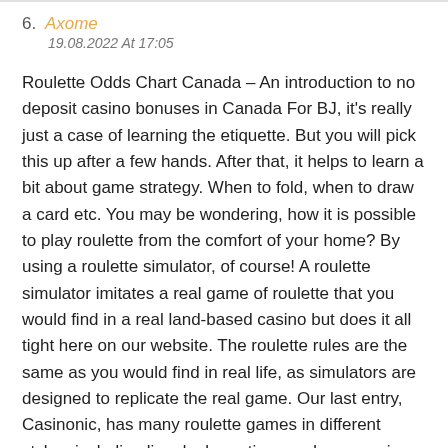6. Axome
19.08.2022 At 17:05
Roulette Odds Chart Canada – An introduction to no deposit casino bonuses in Canada For BJ, it’s really just a case of learning the etiquette. But you will pick this up after a few hands. After that, it helps to learn a bit about game strategy. When to fold, when to draw a card etc. You may be wondering, how it is possible to play roulette from the comfort of your home? By using a roulette simulator, of course! A roulette simulator imitates a real game of roulette that you would find in a real land-based casino but does it all tight here on our website. The roulette rules are the same as you would find in real life, as simulators are designed to replicate the real game. Our last entry, Casinonic, has many roulette games in different styles, including live dealer options and some unique picks like Neon Roulette and 10p Roulette thatвЂ™s perfect for